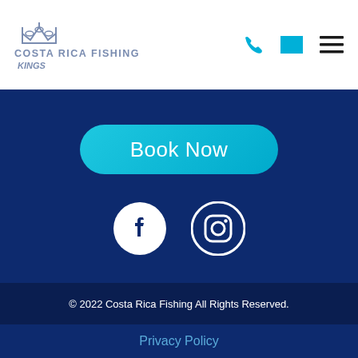[Figure (logo): Costa Rica Fishing Kings logo with crown and stylized fish icon]
[Figure (infographic): Navigation icons: phone, email, hamburger menu]
[Figure (infographic): Book Now button (teal/cyan rounded rectangle)]
[Figure (infographic): Social media icons: Facebook and Instagram circles on dark blue background]
© 2022 Costa Rica Fishing All Rights Reserved.
Privacy Policy